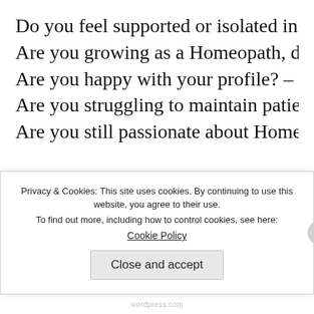Do you feel supported or isolated in your work…
Are you growing as a Homeopath, developing n…
Are you happy with your profile? – How you pr…
Are you struggling to maintain patients?
Are you still passionate about Homeopathy? –
Keep a success log. The feeling of helping a pati… clear and transformative effect is inspiring. Thi… experiences that can be disheartening. With the…
Privacy & Cookies: This site uses cookies. By continuing to use this website, you agree to their use.
To find out more, including how to control cookies, see here:
Cookie Policy
Close and accept